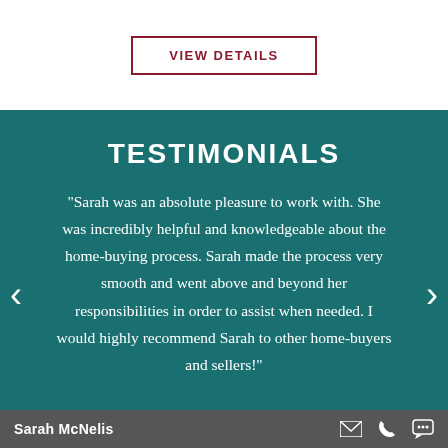VIEW DETAILS
TESTIMONIALS
"Sarah was an absolute pleasure to work with. She was incredibly helpful and knowledgeable about the home-buying process. Sarah made the process very smooth and went above and beyond her responsibilities in order to assist when needed. I would highly recommend Sarah to other home-buyers and sellers!"
Sarah McNelis